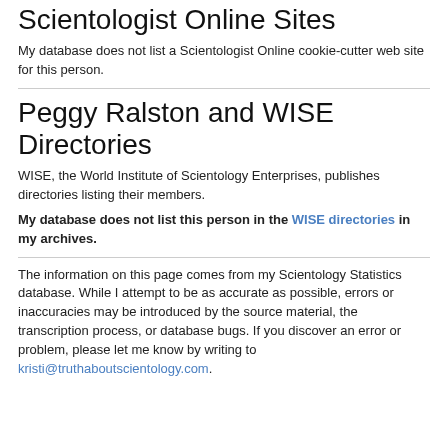Scientologist Online Sites
My database does not list a Scientologist Online cookie-cutter web site for this person.
Peggy Ralston and WISE Directories
WISE, the World Institute of Scientology Enterprises, publishes directories listing their members.
My database does not list this person in the WISE directories in my archives.
The information on this page comes from my Scientology Statistics database. While I attempt to be as accurate as possible, errors or inaccuracies may be introduced by the source material, the transcription process, or database bugs. If you discover an error or problem, please let me know by writing to kristi@truthaboutscientology.com.